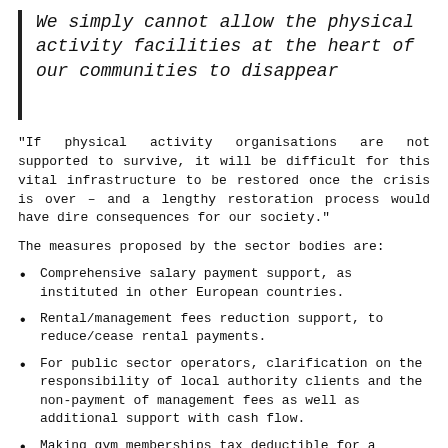We simply cannot allow the physical activity facilities at the heart of our communities to disappear
"If physical activity organisations are not supported to survive, it will be difficult for this vital infrastructure to be restored once the crisis is over – and a lengthy restoration process would have dire consequences for our society."
The measures proposed by the sector bodies are:
Comprehensive salary payment support, as instituted in other European countries.
Rental/management fees reduction support, to reduce/cease rental payments.
For public sector operators, clarification on the responsibility of local authority clients and the non-payment of management fees as well as additional support with cash flow.
Making gym memberships tax deductible for a stipulated